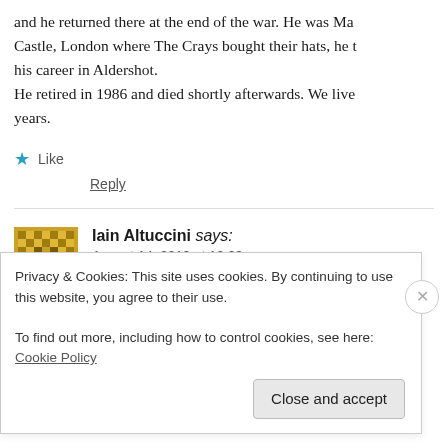and he returned there at the end of the war. He was Ma Castle, London where The Crays bought their hats, he his career in Aldershot. He retired in 1986 and died shortly afterwards. We live years.
★ Like
Reply
Iain Altuccini says:
August 14, 2019 at 12:03 pm
I still lament the passing of Dunn's. Their presence on
Privacy & Cookies: This site uses cookies. By continuing to use this website, you agree to their use.
To find out more, including how to control cookies, see here: Cookie Policy
Close and accept